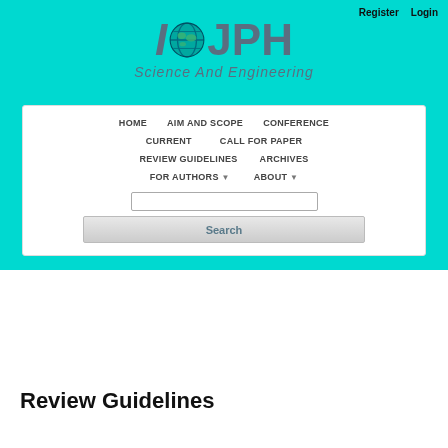Register   Login
[Figure (logo): IOJPH Science And Engineering logo with globe icon]
HOME   AIM AND SCOPE   CONFERENCE   CURRENT   CALL FOR PAPER   REVIEW GUIDELINES   ARCHIVES   FOR AUTHORS ▼   ABOUT ▼
Review Guidelines